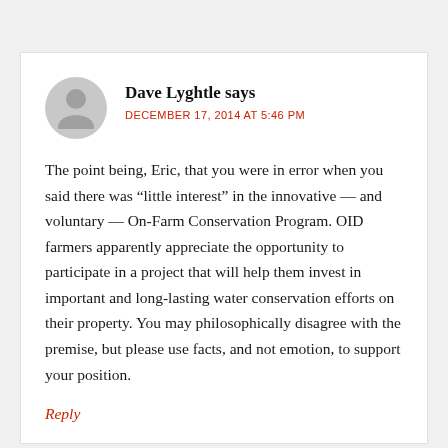Dave Lyghtle says
DECEMBER 17, 2014 AT 5:46 PM
The point being, Eric, that you were in error when you said there was “little interest” in the innovative — and voluntary — On-Farm Conservation Program. OID farmers apparently appreciate the opportunity to participate in a project that will help them invest in important and long-lasting water conservation efforts on their property. You may philosophically disagree with the premise, but please use facts, and not emotion, to support your position.
Reply